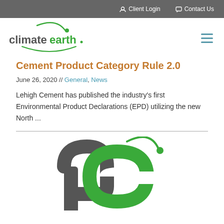Client Login   Contact Us
[Figure (logo): Climate Earth logo with green arc and dot above stylized text]
Cement Product Category Rule 2.0
June 26, 2020 // General, News
Lehigh Cement has published the industry's first Environmental Product Declarations (EPD) utilizing the new North ...
[Figure (logo): Climate Earth 'ce' logo mark in green and dark gray with arc and dot]